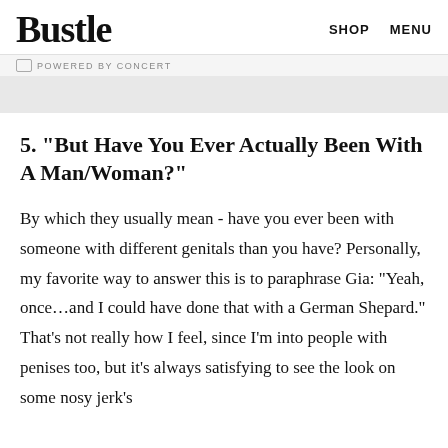Bustle | SHOP  MENU
POWERED BY CONCERT
5. "But Have You Ever Actually Been With A Man/Woman?"
By which they usually mean - have you ever been with someone with different genitals than you have? Personally, my favorite way to answer this is to paraphrase Gia: “Yeah, once…and I could have done that with a German Shepard.” That's not really how I feel, since I'm into people with penises too, but it's always satisfying to see the look on some nosy jerk's